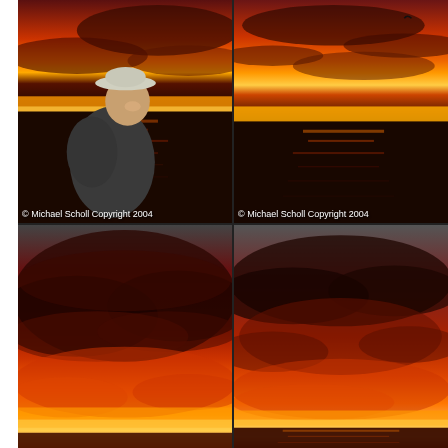[Figure (photo): Man in a wide-brimmed hat smiling against a dramatic red/orange ocean sunset background. Copyright watermark: © Michael Scholl Copyright 2004]
[Figure (photo): Ocean sunset with dramatic red and orange sky, a bird visible in the upper area. Copyright watermark: © Michael Scholl Copyright 2004]
[Figure (photo): Wide dramatic sunset sky with deep red and orange cloud formations over the ocean, nearly sky-filling clouds.]
[Figure (photo): Sunset sky with dark clouds transitioning to orange and red near the horizon, over the ocean.]